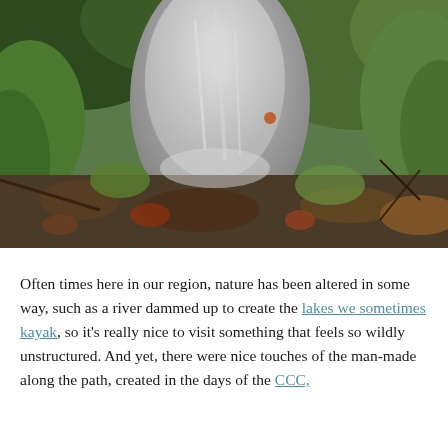[Figure (photo): Outdoor nature photo showing a large grey rock or waterfall surrounded by green and autumn-colored foliage, fallen leaves, and branches on the ground.]
Often times here in our region, nature has been altered in some way, such as a river dammed up to create the lakes we sometimes kayak, so it's really nice to visit something that feels so wildly unstructured. And yet, there were nice touches of the man-made along the path, created in the days of the CCC,